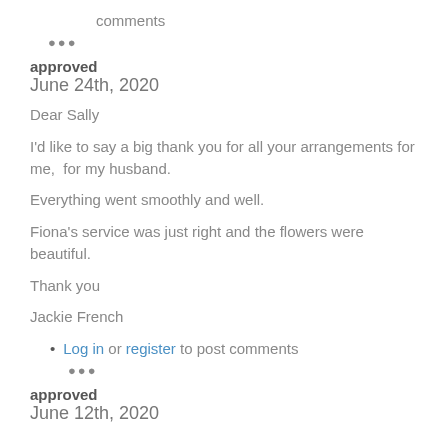Log in or register to post comments
•••
approved
June 24th, 2020
Dear Sally
I'd like to say a big thank you for all your arrangements for me,  for my husband.
Everything went smoothly and well.
Fiona's service was just right and the flowers were beautiful.
Thank you
Jackie French
Log in or register to post comments
•••
approved
June 12th, 2020